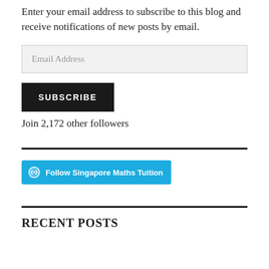Enter your email address to subscribe to this blog and receive notifications of new posts by email.
[Figure (other): Email address input field with placeholder text 'Email Address']
[Figure (other): Black SUBSCRIBE button]
Join 2,172 other followers
[Figure (other): Horizontal black divider line]
[Figure (other): Teal 'Follow Singapore Maths Tuition' WordPress follow button]
[Figure (other): Horizontal black divider line]
RECENT POSTS